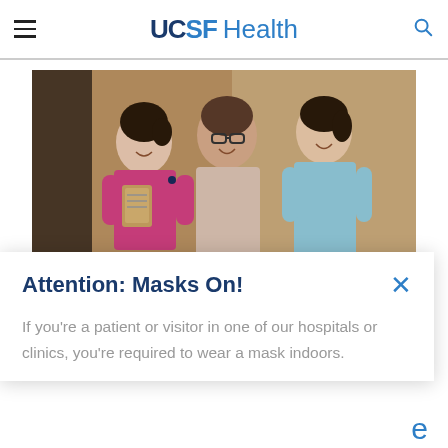UCSF Health
[Figure (photo): Three women walking together — a nurse in pink scrubs holding a clipboard, an older woman in the center, and a younger woman in a light blue cardigan, all smiling.]
International Services
If you live outside the United States and
Attention: Masks On!
If you're a patient or visitor in one of our hospitals or clinics, you're required to wear a mask indoors.